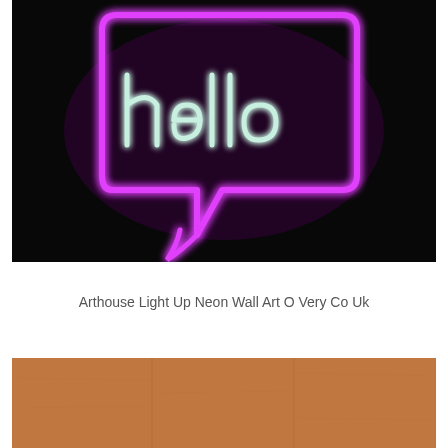[Figure (photo): Neon light art sign reading 'hello' in white neon lettering inside a pink neon speech bubble shape, mounted on a dark/black background]
Arthouse Light Up Neon Wall Art O Very Co Uk
[Figure (photo): Bottom portion of a wooden panel or surface with warm brown/tan color, partially visible]